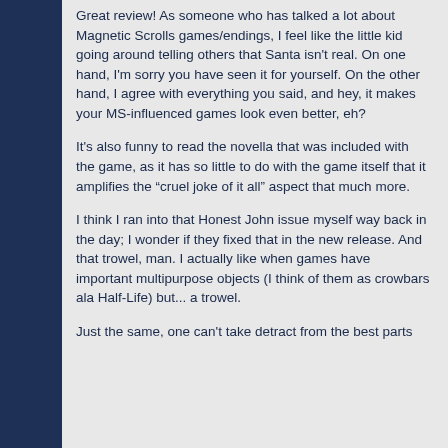Great review! As someone who has talked a lot about Magnetic Scrolls games/endings, I feel like the little kid going around telling others that Santa isn't real. On one hand, I'm sorry you have seen it for yourself. On the other hand, I agree with everything you said, and hey, it makes your MS-influenced games look even better, eh?
It's also funny to read the novella that was included with the game, as it has so little to do with the game itself that it amplifies the "cruel joke of it all" aspect that much more.
I think I ran into that Honest John issue myself way back in the day; I wonder if they fixed that in the new release. And that trowel, man. I actually like when games have important multipurpose objects (I think of them as crowbars ala Half-Life) but... a trowel.
Just the same, one can't take detract from the best parts